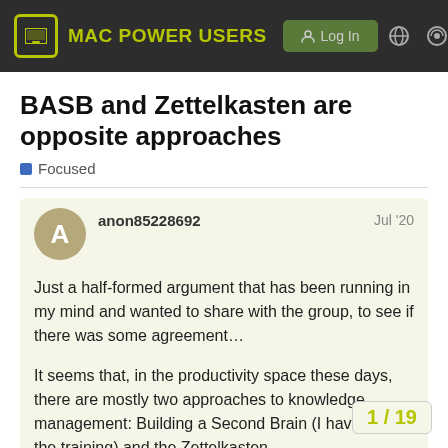MAC POWER USERS — Log In
BASB and Zettelkasten are opposite approaches
Focused
anon85228692   Jul '20
Just a half-formed argument that has been running in my mind and wanted to share with the group, to see if there was some agreement…

It seems that, in the productivity space these days, there are mostly two approaches to knowledge management: Building a Second Brain (I have taken the training) and the Zettelkasten.

As I'm studying both, and reflecting on Cal Newport's Deep Work ideas, I'm increasingly thinking both approaches to knowledge management.